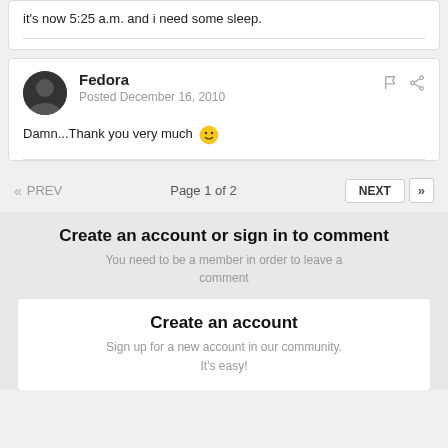it's now 5:25 a.m. and i need some sleep.
Fedora
Posted December 16, 2010
Damn...Thank you very much 🙂
Page 1 of 2
Create an account or sign in to comment
You need to be a member in order to leave a comment
Create an account
Sign up for a new account in our community. It's easy!